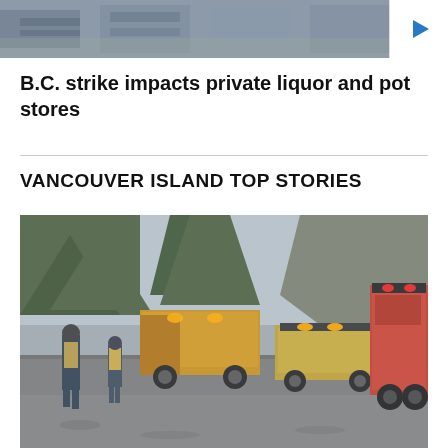[Figure (photo): Top thumbnail image of an indoor scene, possibly a meeting room or classroom, with a blue play button overlay on the right]
B.C. strike impacts private liquor and pot stores
VANCOUVER ISLAND TOP STORIES
[Figure (photo): Emergency scene on a road on Vancouver Island with fire trucks, a police vehicle with orange lights, a yellow dump truck, emergency personnel in high-visibility vests, and a firefighter walking toward the scene. Trees and rocky hillside visible in background.]